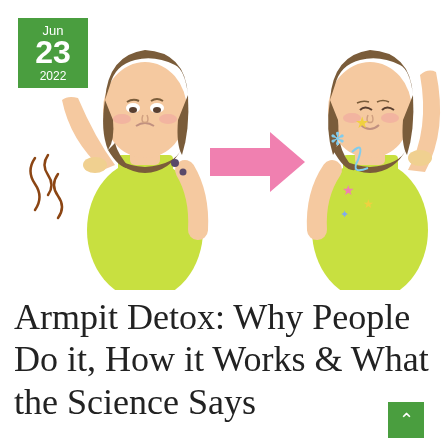[Figure (illustration): Two cartoon women side by side with a pink arrow between them. Left woman wears a yellow-green tank top, raises one arm showing smelly/squiggly brown lines near armpit, looks unhappy, has dark dots near collarbone. Right woman wears same top, raises arm showing sparkles (stars, snowflake shapes, swirls in blue, yellow, pink), looks happy/content. A green date badge in top-left corner reads Jun 23 2022.]
Armpit Detox: Why People Do it, How it Works & What the Science Says